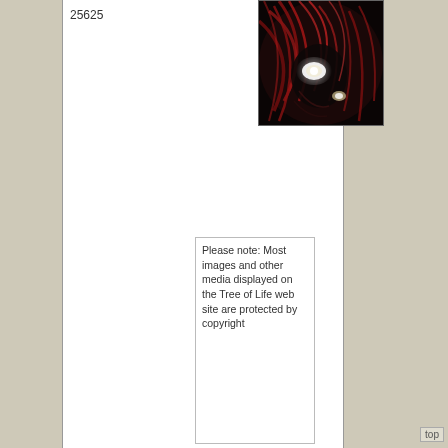25625
[Figure (photo): Dark dramatic photo of a creature or figure with reddish feathers/spines and a glowing eye, appearing to be a fantasy or nature illustration]
Please note: Most images and other media displayed on the Tree of Life web site are protected by copyright